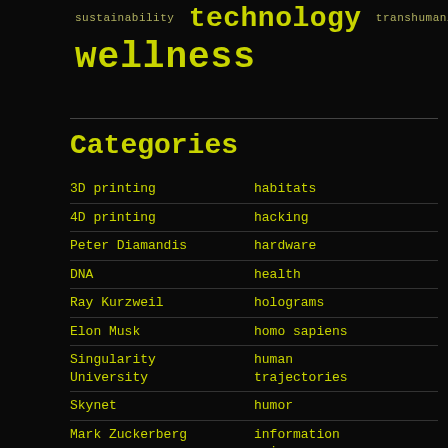sustainability technology transhumanism wellness
Categories
3D printing | habitats
4D printing | hacking
Peter Diamandis | hardware
DNA | health
Ray Kurzweil | holograms
Elon Musk | homo sapiens
Singularity University | human trajectories
Skynet | humor
Mark Zuckerberg | information science
aging | innovation
alien life | internet
anti-gravity | journalism
architecture |